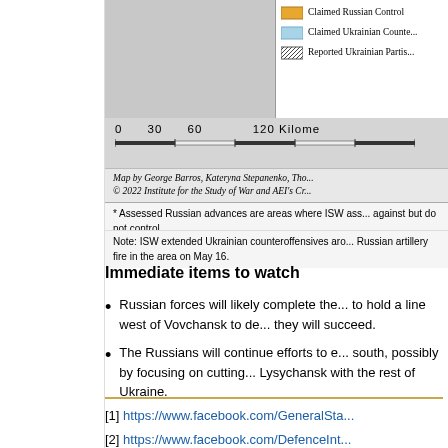[Figure (map): Map legend and scale bar for ISW Ukraine conflict map showing Claimed Russian Control, Claimed Ukrainian Counteroffensive areas, and Reported Ukrainian Partisan activity. Scale bar 0-120 kilometers. Credit: Map by George Barros, Kateryna Stepanenko, Tho... © 2022 Institute for the Study of War and AEI's Cr...]
* Assessed Russian advances are areas where ISW ass... against but do not control.
Note: ISW extended Ukrainian counteroffensives aro... Russian artillery fire in the area on May 16.
Immediate items to watch
Russian forces will likely complete the... to hold a line west of Vovchansk to de... they will succeed.
The Russians will continue efforts to e... south, possibly by focusing on cutting... Lysychansk with the rest of Ukraine.
[1] https://www.facebook.com/GeneralSta...
[2] https://www.facebook.com/DefenceInt...